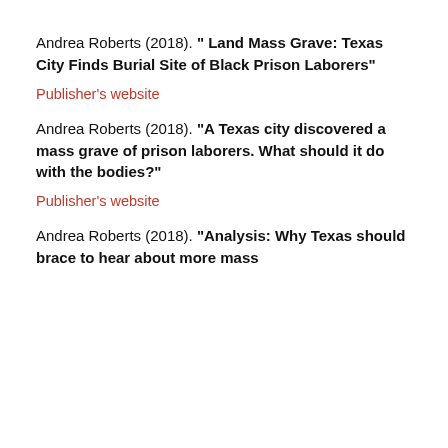Andrea Roberts (2018). " Land Mass Grave: Texas City Finds Burial Site of Black Prison Laborers"
Publisher's website
Andrea Roberts (2018). "A Texas city discovered a mass grave of prison laborers. What should it do with the bodies?"
Publisher's website
Andrea Roberts (2018). "Analysis: Why Texas should brace to hear about more mass